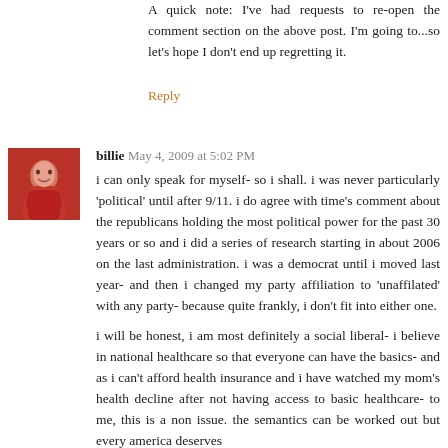A quick note: I've had requests to re-open the comment section on the above post. I'm going to...so let's hope I don't end up regretting it.
Reply
billie May 4, 2009 at 5:02 PM
i can only speak for myself- so i shall. i was never particularly 'political' until after 9/11. i do agree with time's comment about the republicans holding the most political power for the past 30 years or so and i did a series of research starting in about 2006 on the last administration. i was a democrat until i moved last year- and then i changed my party affiliation to 'unaffilated' with any party- because quite frankly, i don't fit into either one.

i will be honest, i am most definitely a social liberal- i believe in national healthcare so that everyone can have the basics- and as i can't afford health insurance and i have watched my mom's health decline after not having access to basic healthcare- to me, this is a non issue. the semantics can be worked out but every america deserves